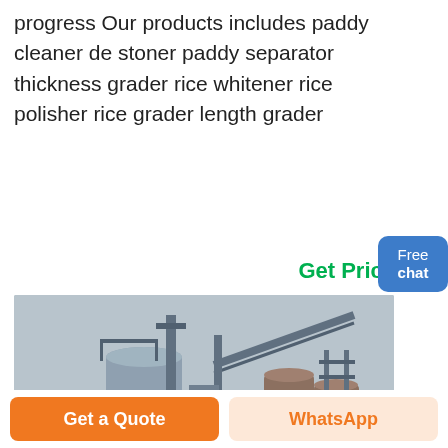progress Our products includes paddy cleaner de stoner paddy separator thickness grader rice whitener rice polisher rice grader length grader
Get Price
[Figure (photo): Industrial rice mill facility with large metal silos, conveyor systems, and processing equipment under an overcast sky.]
Free chat
Get a Quote
WhatsApp